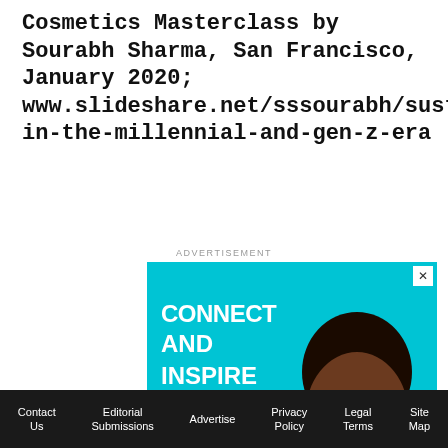Cosmetics Masterclass by Sourabh Sharma, San Francisco, January 2020; www.slideshare.net/sssourabh/sustainability-in-the-millennial-and-gen-z-era
ADVERTISEMENT
[Figure (illustration): Beauty Accelerate advertisement banner with cyan background. Text reads: CONNECT AND INSPIRE. RESERVE A SPACE button with arrow chevrons. BEAUTY ACCELERATE logo with tagline: The Event Connecting Brand Marketing and R&D Innovation. Photo of smiling woman with blue eye makeup and cyan nail polish.]
Contact Us   Editorial Submissions   Advertise   Privacy Policy   Legal Terms   Site Map